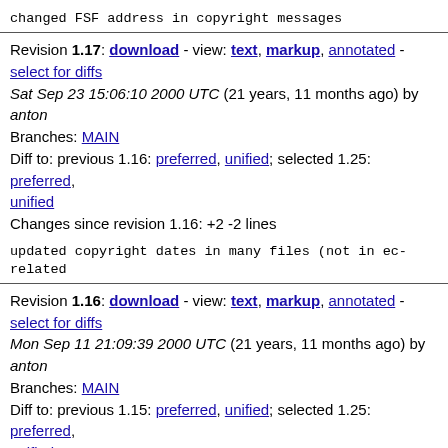changed FSF address in copyright messages
Revision 1.17: download - view: text, markup, annotated - select for diffs
Sat Sep 23 15:06:10 2000 UTC (21 years, 11 months ago) by anton
Branches: MAIN
Diff to: previous 1.16: preferred, unified; selected 1.25: preferred, unified
Changes since revision 1.16: +2 -2 lines
updated copyright dates in many files (not in ec-related
Revision 1.16: download - view: text, markup, annotated - select for diffs
Mon Sep 11 21:09:39 2000 UTC (21 years, 11 months ago) by anton
Branches: MAIN
Diff to: previous 1.15: preferred, unified; selected 1.25: preferred, unified
Changes since revision 1.15: +4 -5 lines
typo fix
Revision 1.15: download - view: text, markup, annotated - select for diffs